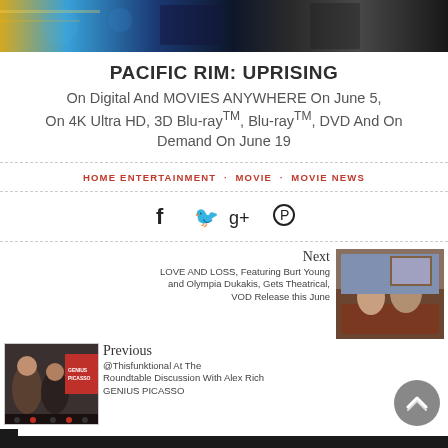[Figure (photo): Movie banner/still image at top of page showing colorful scene from Pacific Rim: Uprising]
PACIFIC RIM: UPRISING
On Digital And MOVIES ANYWHERE On June 5, On 4K Ultra HD, 3D Blu-rayTM, Blu-rayTM, DVD And On Demand On June 19
HOME ENTERTAINMENT  MOVIE  MOVIE NEWS
[Figure (other): Social media icons: Facebook, Twitter, Google+, Pinterest]
Next
LOVE AND LOSS, Featuring Burt Young and Olympia Dukakis, Gets Theatrical, VOD Release this June
[Figure (photo): Thumbnail for Love and Loss movie showing elderly couple on sofa]
Previous
@Thisfunktional At The Roundtable Discussion With Alex Rich GENIUS PICASSO
[Figure (photo): Thumbnail for Genius Picasso roundtable discussion]